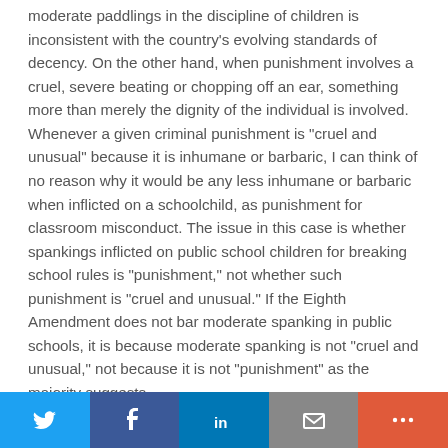moderate paddlings in the discipline of children is inconsistent with the country's evolving standards of decency. On the other hand, when punishment involves a cruel, severe beating or chopping off an ear, something more than merely the dignity of the individual is involved. Whenever a given criminal punishment is "cruel and unusual" because it is inhumane or barbaric, I can think of no reason why it would be any less inhumane or barbaric when inflicted on a schoolchild, as punishment for classroom misconduct. The issue in this case is whether spankings inflicted on public school children for breaking school rules is "punishment," not whether such punishment is "cruel and unusual." If the Eighth Amendment does not bar moderate spanking in public schools, it is because moderate spanking is not "cruel and unusual," not because it is not "punishment" as the majority suggests.
Twitter | Facebook | LinkedIn | Email | More